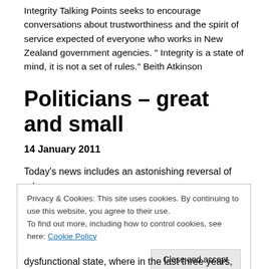Integrity Talking Points seeks to encourage conversations about trustworthiness and the spirit of service expected of everyone who works in New Zealand government agencies. " Integrity is a state of mind, it is not a set of rules." Beith Atkinson
Politicians – great and small
14 January 2011
Today's news includes an astonishing reversal of roles.
The new Governor of New York, a state where many
Privacy & Cookies: This site uses cookies. By continuing to use this website, you agree to their use.
To find out more, including how to control cookies, see here: Cookie Policy
dysfunctional state, where in the last three years, 2/3rds of